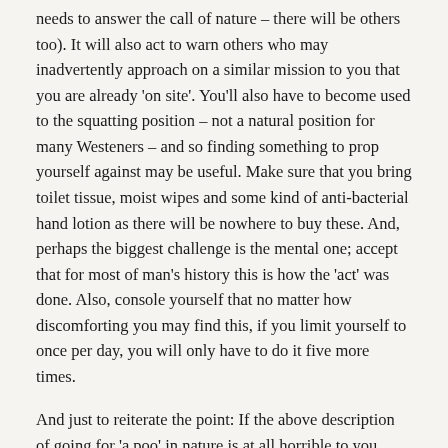needs to answer the call of nature – there will be others too). It will also act to warn others who may inadvertently approach on a similar mission to you that you are already 'on site'. You'll also have to become used to the squatting position – not a natural position for many Westeners – and so finding something to prop yourself against may be useful. Make sure that you bring toilet tissue, moist wipes and some kind of anti-bacterial hand lotion as there will be nowhere to buy these. And, perhaps the biggest challenge is the mental one; accept that for most of man's history this is how the 'act' was done. Also, console yourself that no matter how discomforting you may find this, if you limit yourself to once per day, you will only have to do it five more times.
And just to reiterate the point: If the above description of going for 'a poo' in nature is at all horrible to you, remember that you are paying a lot for the privilege. The good news is that everyone else you're with will be having the same feelings as you...